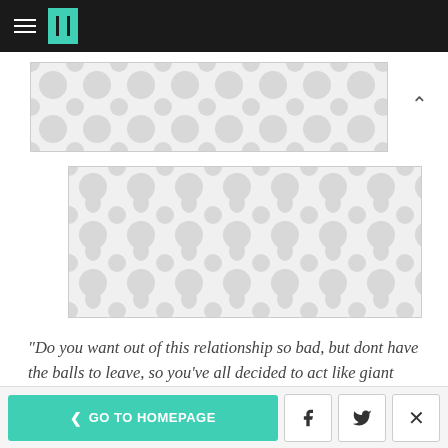HuffPost navigation bar with hamburger menu and logo
[Figure (other): Advertisement placeholder banner with grey circular pattern]
[Figure (other): Advertisement placeholder banner with grey teardrop/circular pattern]
"Do you want out of this relationship so bad, but dont have the balls to leave, so you've all decided to act like giant a**holes to force us to break up with you? Because if so, get the f**k out."
< GO TO HOMEPAGE | Facebook | Twitter | X